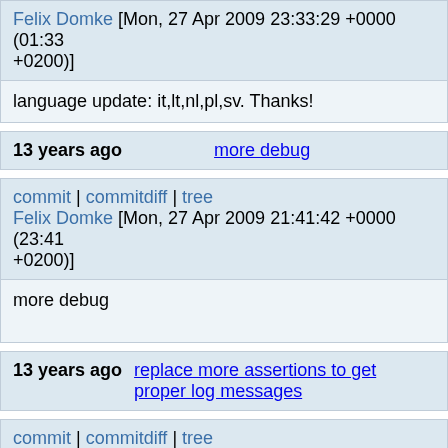Felix Domke [Mon, 27 Apr 2009 23:33:29 +0000 (01:33 +0200)]
language update: it,lt,nl,pl,sv. Thanks!
13 years ago   more debug
commit | commitdiff | tree
Felix Domke [Mon, 27 Apr 2009 21:41:42 +0000 (23:41 +0200)]
more debug
13 years ago   replace more assertions to get proper log messages
commit | commitdiff | tree
ghost [Mon, 27 Apr 2009 20:57:34 +0000 (22:57 +0200)]